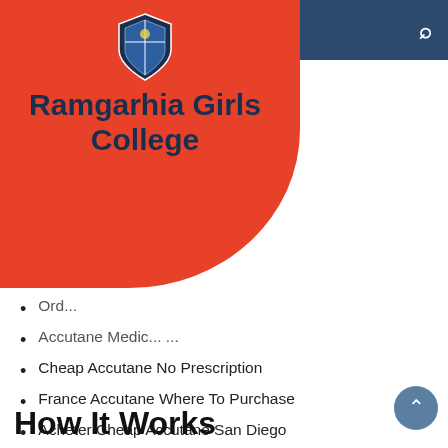[Figure (logo): Ramgarhia Girls College logo with shield emblem on red rounded background with dark blue navigation bar]
Ramgarhia Girls College
Ord...
Accutane Medic... ...
Cheap Accutane No Prescription
France Accutane Where To Purchase
Acheter Cheap Accutane San Diego
Billig Generic Accutane Zürich
How Much Does A Isotretinoin Prescription Cost
Where To Buy Accutane Brand Online
Accutane Safe Buy Online
Purchase Cheap Accutane Washington
Buy Generic Isotretinoin Overnight
How It Works